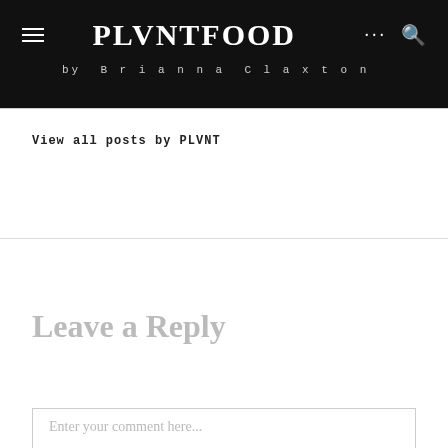PLVNTFOOD by Brianna Claxton
View all posts by PLVNT
Leave a Reply
Enter your comment here...